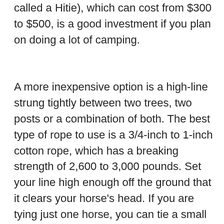called a Hitie), which can cost from $300 to $500, is a good investment if you plan on doing a lot of camping.
A more inexpensive option is a high-line strung tightly between two trees, two posts or a combination of both. The best type of rope to use is a 3/4-inch to 1-inch cotton rope, which has a breaking strength of 2,600 to 3,000 pounds. Set your line high enough off the ground that it clears your horse's head. If you are tying just one horse, you can tie a small loop knot in the center of the rope, or you can tie two knots, with each one at least 6 feet from your end post, and secure your horse between the two knots. You will then attach a carabiner or swivel hook to the rope or loop. If you tie two